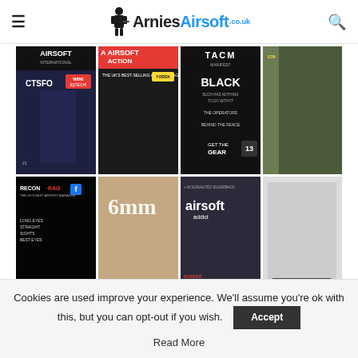ArniesAirsoft.co.uk
[Figure (photo): Grid of 8 airsoft magazine covers arranged in 2 rows of 4. Top row: Airsoft International (CTSFO issue), Airsoft Action, Tactical Manifest (BLACK issue), unnamed airsoft magazine. Bottom row: Recon-Rag, 6mm magazine, Airsoft Addict (Special IWA 2017), unnamed black & white airsoft magazine.]
Cookies are used improve your experience. We'll assume you're ok with this, but you can opt-out if you wish.
Accept
Read More